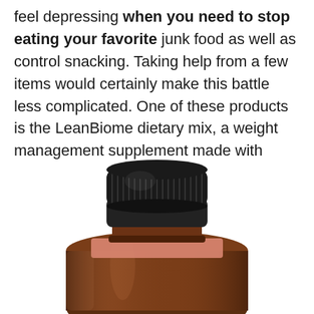feel depressing when you need to stop eating your favorite junk food as well as control snacking. Taking help from a few items would certainly make this battle less complicated. One of these products is the LeanBiome dietary mix, a weight management supplement made with 100% all-natural ingredients.
[Figure (photo): Close-up photo of an amber glass supplement bottle with a black ribbed screw cap, partially cropped at the bottom of the image. The bottle has a pinkish label partially visible near the neck.]